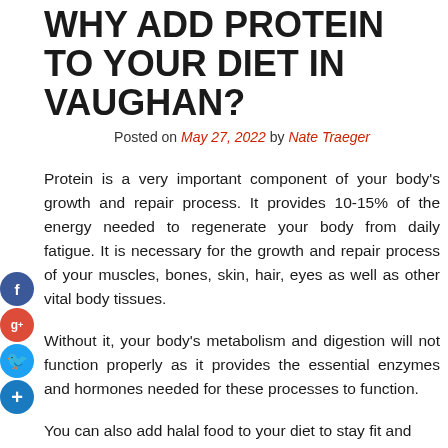WHY ADD PROTEIN TO YOUR DIET IN VAUGHAN?
Posted on May 27, 2022 by Nate Traeger
Protein is a very important component of your body's growth and repair process. It provides 10-15% of the energy needed to regenerate your body from daily fatigue. It is necessary for the growth and repair process of your muscles, bones, skin, hair, eyes as well as other vital body tissues.
Without it, your body's metabolism and digestion will not function properly as it provides the essential enzymes and hormones needed for these processes to function.
You can also add halal food to your diet to stay fit and